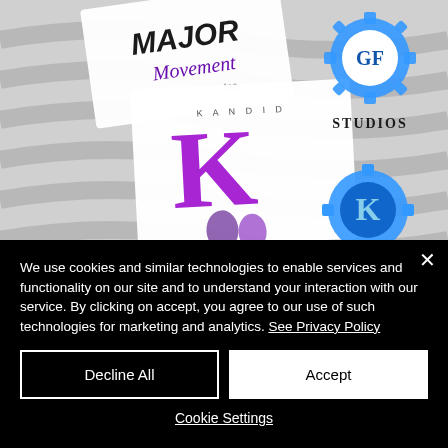[Figure (screenshot): Website screenshot showing multiple logos on a gray wavy background: 'Major Movement Inc' in purple script, 'KANDID' with large purple K and two women silhouettes, 'GF STUDIOS' with blue gear logo, and blue/purple gear logos with K letters.]
We use cookies and similar technologies to enable services and functionality on our site and to understand your interaction with our service. By clicking on accept, you agree to our use of such technologies for marketing and analytics. See Privacy Policy